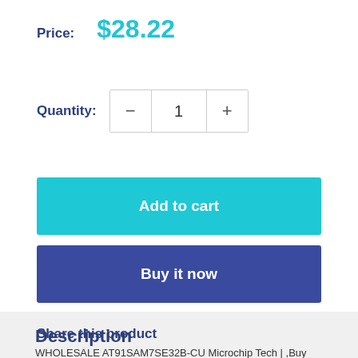Price: $28.22
Quantity: 1
Add to cart
Buy it now
Share this product
Description
WHOLESALE AT91SAM7SE32B-CU Microchip Tech | ,Buy